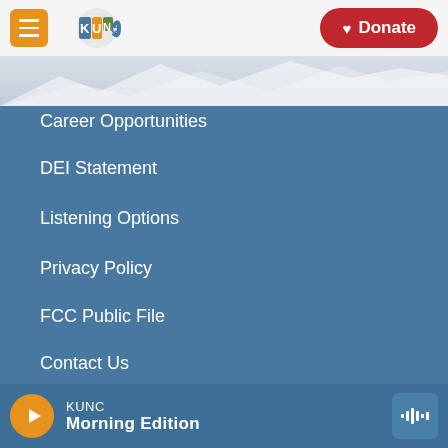KUNC navigation header with menu button, KUNC logo, and Donate button
Career Opportunities
DEI Statement
Listening Options
Privacy Policy
FCC Public File
Contact Us
Manage Your Membership
Colorado Sound
KUNC Morning Edition — player bar